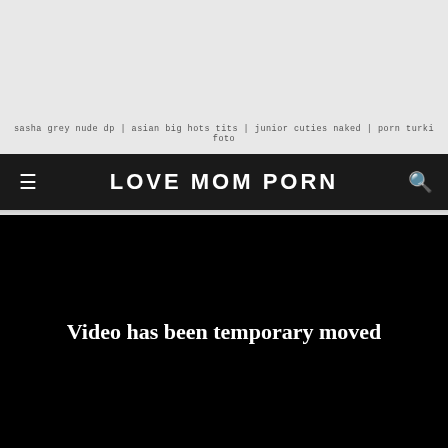sasha grey nude dp | asian big hots tits | junior cuties naked | porn turki foto
LOVE MOM PORN
[Figure (screenshot): Black video player area with white bold text reading 'Video has been temporary moved']
Video has been temporary moved